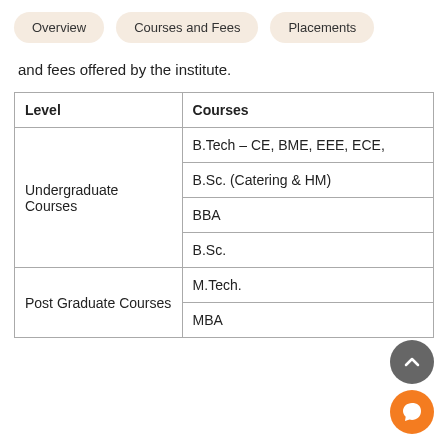Overview   Courses and Fees   Placements
and fees offered by the institute.
| Level | Courses |
| --- | --- |
| Undergraduate Courses | B.Tech – CE, BME, EEE, ECE, |
|  | B.Sc. (Catering & HM) |
|  | BBA |
|  | B.Sc. |
| Post Graduate Courses | M.Tech. |
|  | MBA |